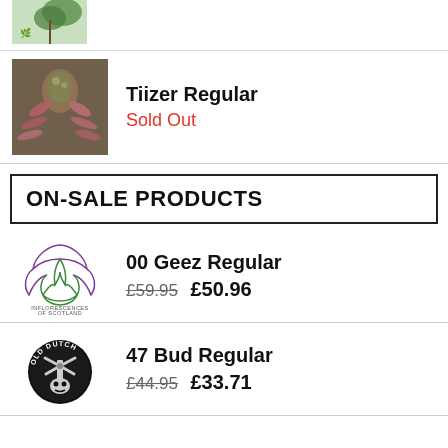[Figure (photo): Partial cannabis plant product image at top of page]
[Figure (photo): Cannabis bud close-up photo for Tiizer Regular product]
Tiizer Regular
Sold Out
ON-SALE PRODUCTS
[Figure (logo): Inflorescences of Scotland logo - purple floral/leaf outline illustration with text INFLORESCENCES OF SCOTLAND]
00 Geez Regular
£59.95  £50.96
[Figure (logo): Old Dutch logo - circular black badge with windmill illustration and OLD DUTCH text]
47 Bud Regular
£44.95  £33.71